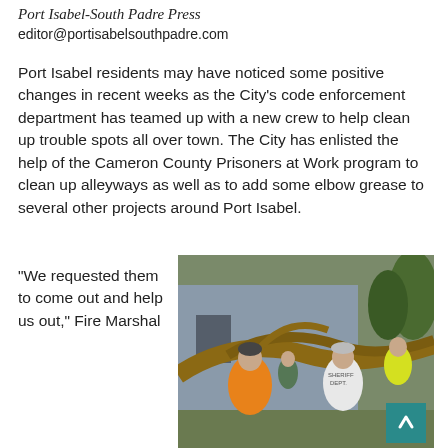Port Isabel-South Padre Press
editor@portisabelsouthpadre.com
Port Isabel residents may have noticed some positive changes in recent weeks as the City’s code enforcement department has teamed up with a new crew to help clean up trouble spots all over town. The City has enlisted the help of the Cameron County Prisoners at Work program to clean up alleyways as well as to add some elbow grease to several other projects around Port Isabel.
[Figure (photo): Workers in safety vests and a person in a Sheriff Dept. shirt clearing fallen tree branches from an area next to a building, outdoors in daylight.]
“We requested them to come out and help us out,” Fire Marshal